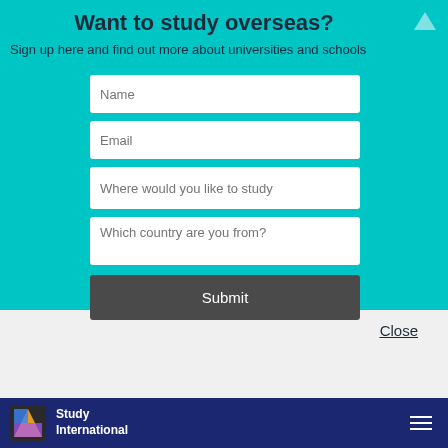Want to study overseas?
Sign up here and find out more about universities and schools
[Figure (screenshot): Web form with fields for Name, Email, Where would you like to study, Which country are you from?, and a Submit button on a teal background]
Close
[Figure (logo): Study International logo with colorful S icon and white text on navy footer bar]